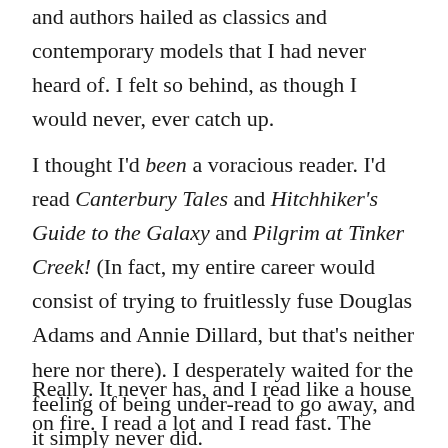and authors hailed as classics and contemporary models that I had never heard of. I felt so behind, as though I would never, ever catch up.
I thought I'd been a voracious reader. I'd read Canterbury Tales and Hitchhiker's Guide to the Galaxy and Pilgrim at Tinker Creek! (In fact, my entire career would consist of trying to fruitlessly fuse Douglas Adams and Annie Dillard, but that's neither here nor there). I desperately waited for the feeling of being under-read to go away, and it simply never did.
Really. It never has, and I read like a house on fire. I read a lot and I read fast. The truth is that there is no catching up, and that's a beautiful thing. It means we